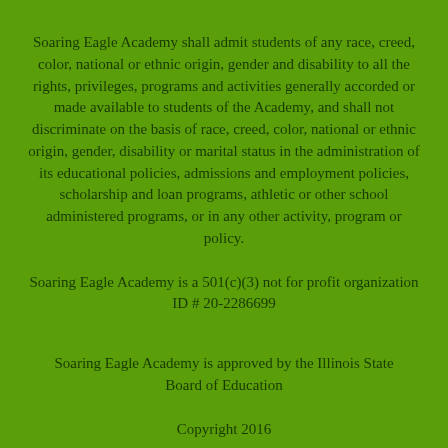Soaring Eagle Academy shall admit students of any race, creed, color, national or ethnic origin, gender and disability to all the rights, privileges, programs and activities generally accorded or made available to students of the Academy, and shall not discriminate on the basis of race, creed, color, national or ethnic origin, gender, disability or marital status in the administration of its educational policies, admissions and employment policies, scholarship and loan programs, athletic or other school administered programs, or in any other activity, program or policy.
Soaring Eagle Academy is a 501(c)(3) not for profit organization ID # 20-2286699
Soaring Eagle Academy is approved by the Illinois State Board of Education
Copyright 2016